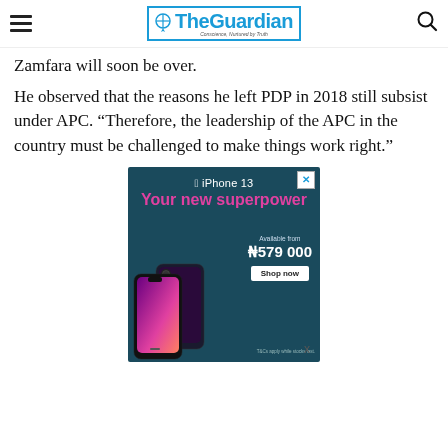The Guardian — Conscience, Nurtured by Truth
Zamfara will soon be over.
He observed that the reasons he left PDP in 2018 still subsist under APC. “Therefore, the leadership of the APC in the country must be challenged to make things work right.”
[Figure (advertisement): iPhone 13 advertisement on teal/dark background. Apple iPhone 13 with text 'Your new superpower'. Price shown as ₦579 000 with 'Shop now' button. Two iPhone 13 handsets visible on left side.]